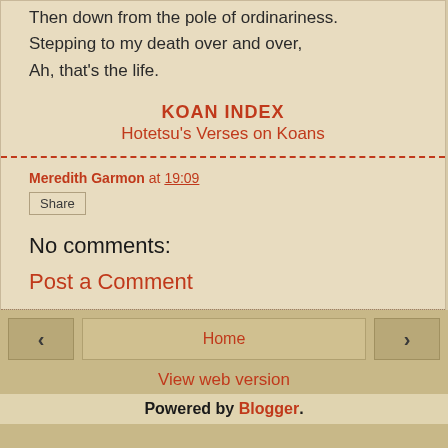Then down from the pole of ordinariness.
Stepping to my death over and over,
Ah, that's the life.
KOAN INDEX
Hotetsu's Verses on Koans
Meredith Garmon at 19:09
Share
No comments:
Post a Comment
Home
View web version
Powered by Blogger.